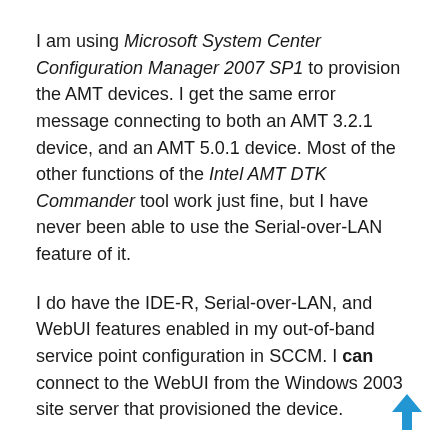I am using Microsoft System Center Configuration Manager 2007 SP1 to provision the AMT devices. I get the same error message connecting to both an AMT 3.2.1 device, and an AMT 5.0.1 device. Most of the other functions of the Intel AMT DTK Commander tool work just fine, but I have never been able to use the Serial-over-LAN feature of it.
I do have the IDE-R, Serial-over-LAN, and WebUI features enabled in my out-of-band service point configuration in SCCM. I can connect to the WebUI from the Windows 2003 site server that provisioned the device.
I am able to use the Microsoft SCCM OOBconsole utility to perform serial-over-LAN functions on the same AMT devices that are having an issue with the DTK Commander tool, so I know that the certificate verification is working as expected. This would appear to be some sort of issue with the